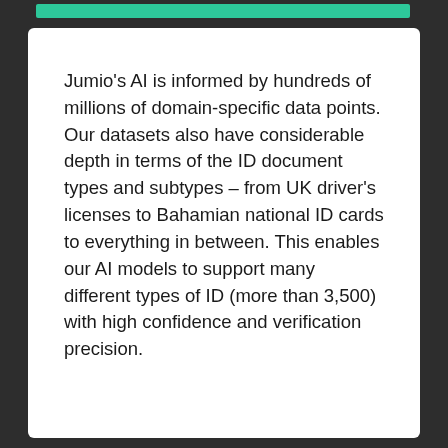Jumio's AI is informed by hundreds of millions of domain-specific data points.
Our datasets also have considerable depth in terms of the ID document types and subtypes – from UK driver's licenses to Bahamian national ID cards to everything in between. This enables our AI models to support many different types of ID (more than 3,500) with high confidence and verification precision.